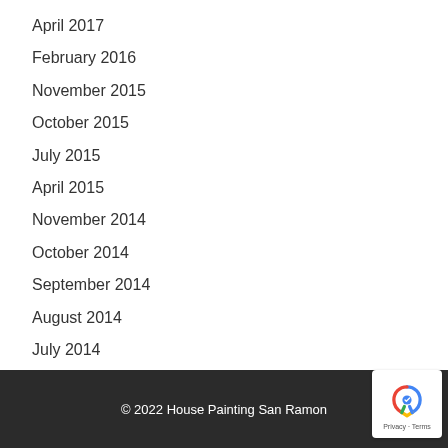April 2017
February 2016
November 2015
October 2015
July 2015
April 2015
November 2014
October 2014
September 2014
August 2014
July 2014
© 2022 House Painting San Ramon